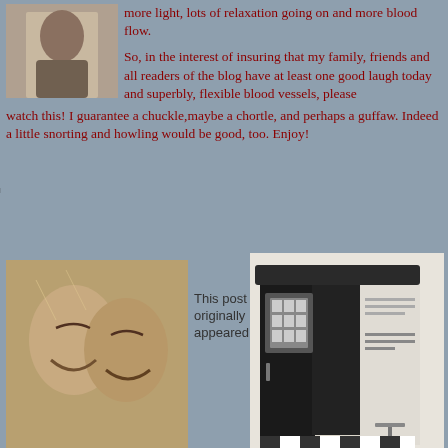[Figure (photo): Black and white portrait photo of a person]
Top L to R: Marie Fuhrhop and Donna Elling
Bottom: Rudy Elling
more light, lots of relaxation going on and more blood flow.
So, in the interest of insuring that my family, friends and all readers of the blog have at least one good laugh today and superbly, flexible blood vessels, please watch this!  I guarantee a chuckle,maybe a chortle, and perhaps a guffaw.  Indeed a little snorting and howling would be good, too.  Enjoy!
[Figure (photo): Black and white photo of two laughing people]
This post originally appeared
[Figure (photo): Photo of a photo booth machine with dark curtain and checkered floor]